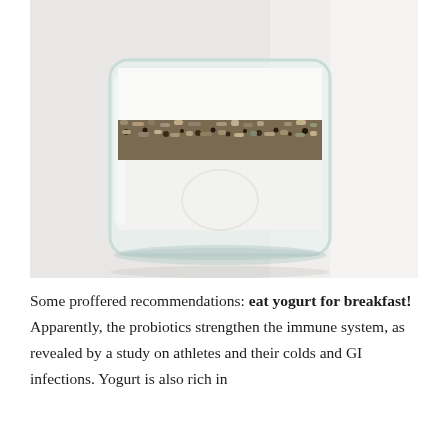[Figure (photo): Close-up photograph of a glass jar filled with white yogurt topped with a layer of granola and seeds/oats, on a light background.]
Some proffered recommendations: eat yogurt for breakfast! Apparently, the probiotics strengthen the immune system, as revealed by a study on athletes and their colds and GI infections. Yogurt is also rich in